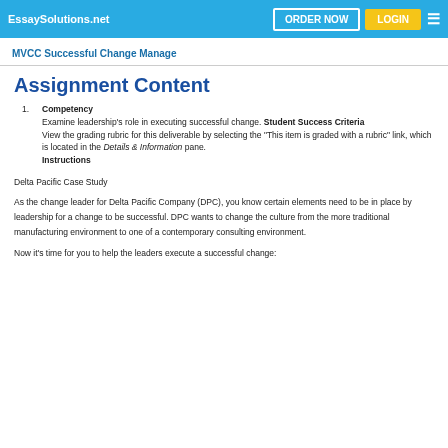EssaySolutions.net   ORDER NOW   LOGIN
MVCC Successful Change Manage
Assignment Content
Competency
Examine leadership's role in executing successful change. Student Success Criteria
View the grading rubric for this deliverable by selecting the “This item is graded with a rubric” link, which is located in the Details & Information pane.
Instructions
Delta Pacific Case Study
As the change leader for Delta Pacific Company (DPC), you know certain elements need to be in place by leadership for a change to be successful. DPC wants to change the culture from the more traditional manufacturing environment to one of a contemporary consulting environment.
Now it’s time for you to help the leaders execute a successful change: